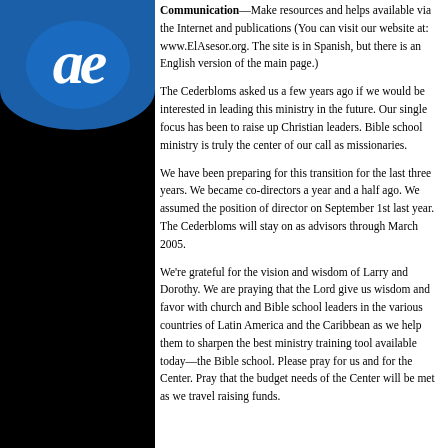[Figure (logo): Blue oval/circle logo with white stylized cursive letters 'ae' on a black background left column]
Communication—Make resources and helps available via the Internet and publications (You can visit our website at: www.ElAsesor.org. The site is in Spanish, but there is an English version of the main page.)
The Cederbloms asked us a few years ago if we would be interested in leading this ministry in the future. Our single focus has been to raise up Christian leaders. Bible school ministry is truly the center of our call as missionaries.
We have been preparing for this transition for the last three years. We became co-directors a year and a half ago. We assumed the position of director on September 1st last year. The Cederbloms will stay on as advisors through March 2005.
We're grateful for the vision and wisdom of Larry and Dorothy. We are praying that the Lord give us wisdom and favor with church and Bible school leaders in the various countries of Latin America and the Caribbean as we help them to sharpen the best ministry training tool available today—the Bible school. Please pray for us and for the Center. Pray that the budget needs of the Center will be met as we travel raising funds.